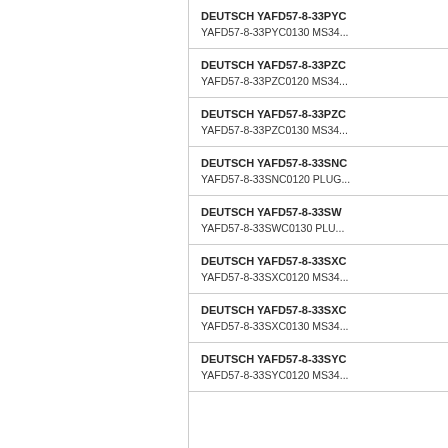DEUTSCH YAFD57-8-33PYC
YAFD57-8-33PYC0130 MS34...
DEUTSCH YAFD57-8-33PZC
YAFD57-8-33PZC0120 MS34...
DEUTSCH YAFD57-8-33PZC
YAFD57-8-33PZC0130 MS34...
DEUTSCH YAFD57-8-33SNC
YAFD57-8-33SNC0120 PLUG...
DEUTSCH YAFD57-8-33SW
YAFD57-8-33SWC0130 PLU...
DEUTSCH YAFD57-8-33SXC
YAFD57-8-33SXC0120 MS34...
DEUTSCH YAFD57-8-33SXC
YAFD57-8-33SXC0130 MS34...
DEUTSCH YAFD57-8-33SYC
YAFD57-8-33SYC0120 MS34...